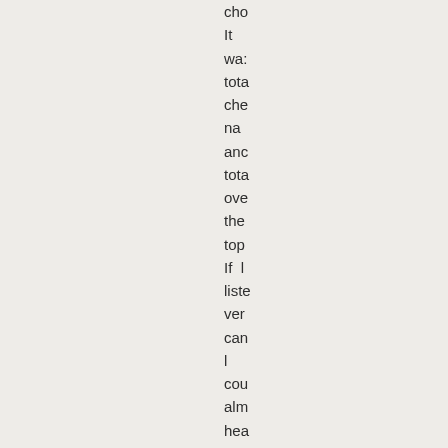cho
It
wa:
tota
che
na
anc
tota
ove
the
top
If  l
liste
ver
can
l
cou
alm
hea
Dar
Ma
turn
in